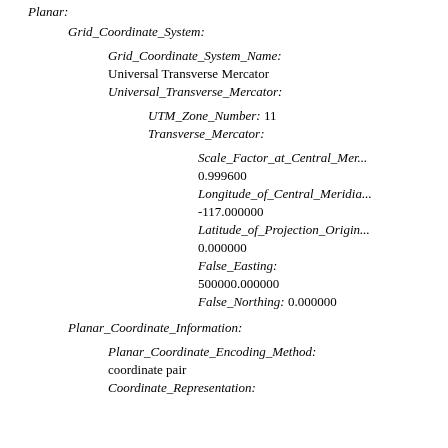Planar:
Grid_Coordinate_System:
Grid_Coordinate_System_Name:
Universal Transverse Mercator
Universal_Transverse_Mercator:
UTM_Zone_Number: 11
Transverse_Mercator:
Scale_Factor_at_Central_Mer...
0.999600
Longitude_of_Central_Meridia...
-117.000000
Latitude_of_Projection_Origin...
0.000000
False_Easting:
500000.000000
False_Northing: 0.000000
Planar_Coordinate_Information:
Planar_Coordinate_Encoding_Method:
coordinate pair
Coordinate_Representation: